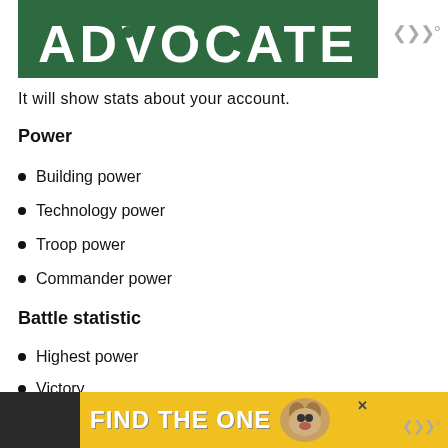[Figure (logo): Green banner with ADVOCATE text in white bold letters]
It will show stats about your account.
Power
Building power
Technology power
Troop power
Commander power
Battle statistic
Highest power
Victory
Defeat
[Figure (other): Yellow advertisement banner reading FIND THE ONE with a dog photo]